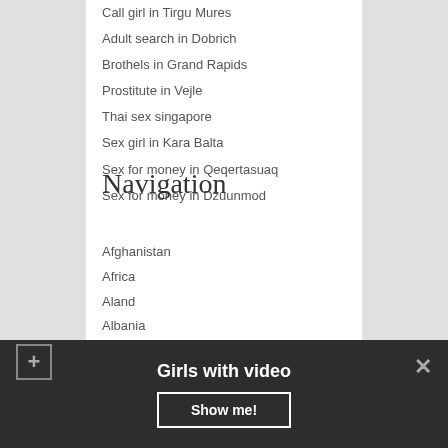Call girl in Tirgu Mures
Adult search in Dobrich
Brothels in Grand Rapids
Prostitute in Vejle
Thai sex singapore
Sex girl in Kara Balta
Sex for money in Qeqertasuaq
Sex for money in Dzuunmod
Navigation
Afghanistan
Africa
Aland
Albania
Algeria
Argentina
Australia
Girls with video
Show me!